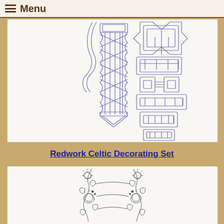Menu
[Figure (illustration): Celtic knot embroidery patterns shown as blue line drawings on white background. Includes a vertical braided Celtic plait on the left and an interlocking geometric Celtic chain/grid pattern on the right.]
Redwork Celtic Decorating Set
[Figure (illustration): Floral redwork embroidery pattern shown as gray/black line drawing on white background. Two mirrored vertical columns of flowers, leaves and vines.]